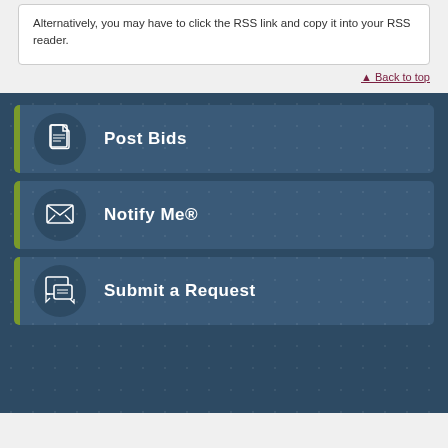Alternatively, you may have to click the RSS link and copy it into your RSS reader.
▲ Back to top
[Figure (infographic): Dark blue panel with three navigation buttons: Post Bids (document icon), Notify Me® (envelope icon), Submit a Request (speech bubble icon). Each button has a green left accent bar and a circular icon.]